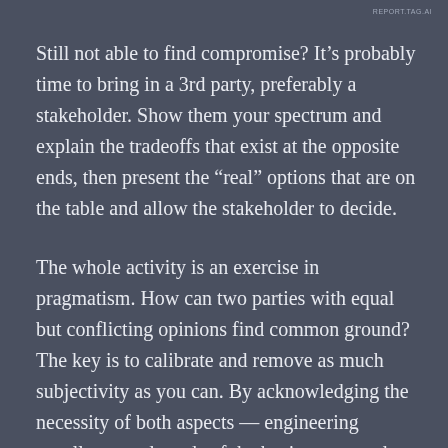REPORT.TAG.AI
Still not able to find compromise? It's probably time to bring in a 3rd party, preferably a stakeholder. Show them your spectrum and explain the tradeoffs that exist at the opposite ends, then present the “real” options that are on the table and allow the stakeholder to decide.
The whole activity is an exercise in pragmatism. How can two parties with equal but conflicting opinions find common ground? The key is to calibrate and remove as much subjectivity as you can. By acknowledging the necessity of both aspects — engineering excellence and needs of the business — and agreeing on the “bounds” of the spectrum, you create a framework for identifying the region for